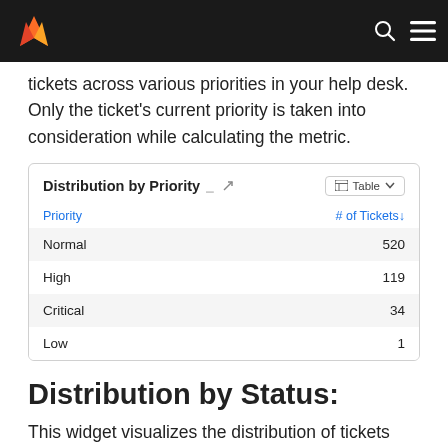[Navigation bar with logo]
tickets across various priorities in your help desk.  Only the ticket's current priority is taken into consideration while calculating the metric.
| Priority | # of Tickets↓ |
| --- | --- |
| Normal | 520 |
| High | 119 |
| Critical | 34 |
| Low | 1 |
Distribution by Status:
This widget visualizes the distribution of tickets across various statuses in your help desk.  Only the ticket's current status is taken into consideration